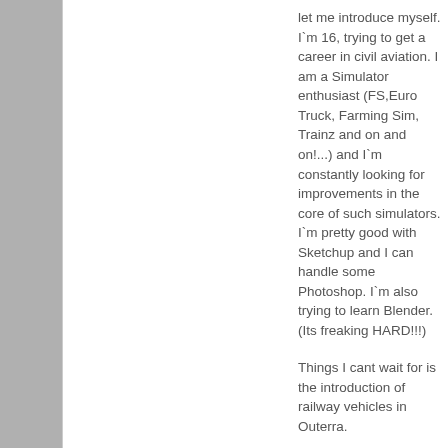let me introduce myself. I`m 16, trying to get a career in civil aviation. I am a Simulator enthusiast (FS,Euro Truck, Farming Sim, Trainz and on and on!...) and I`m constantly looking for improvements in the core of such simulators. I`m pretty good with Sketchup and I can handle some Photoshop. I`m also trying to learn Blender. (Its freaking HARD!!!)
Things I cant wait for is the introduction of railway vehicles in Outerra.